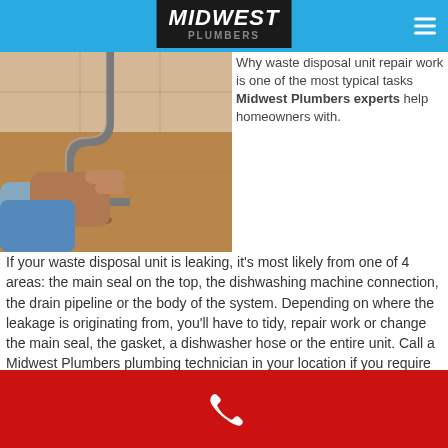MIDWEST PLUMBERS
[Figure (photo): A person pointing at the under-sink plumbing area showing pipes and a P-trap near a wooden cabinet.]
Why waste disposal unit repair work is one of the most typical tasks Midwest Plumbers experts help homeowners with.
If your waste disposal unit is leaking, it's most likely from one of 4 areas: the main seal on the top, the dishwashing machine connection, the drain pipeline or the body of the system. Depending on where the leakage is originating from, you'll have to tidy, repair work or change the main seal, the gasket, a dishwasher hose or the entire unit. Call a Midwest Plumbers plumbing technician in your location if you require expert help.
Phone contact footer